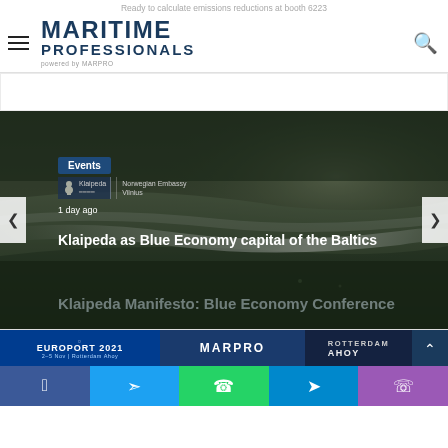Ready to calculate emissions reductions at booth 6223
[Figure (logo): Maritime Professionals powered by MARPRO logo with hamburger menu and search icon]
[Figure (photo): Aerial view of ocean beach/coastline, dark tones, with Events badge, Norwegian Embassy Vilnius logo, '1 day ago' timestamp, hero title 'Klaipeda as Blue Economy capital of the Baltics', and ghost subtitle 'Klaipeda Manifesto: Blue Economy Conference'. Left and right navigation arrows visible.]
Klaipeda as Blue Economy capital of the Baltics
Klaipeda Manifesto: Blue Economy Conference
[Figure (infographic): Bottom strip showing Europort 2021 Rotterdam Ahoy, MARPRO, and Rotterdam Ahoy logos/banners]
Social share bar: Facebook, Twitter, WhatsApp, Telegram, Phone